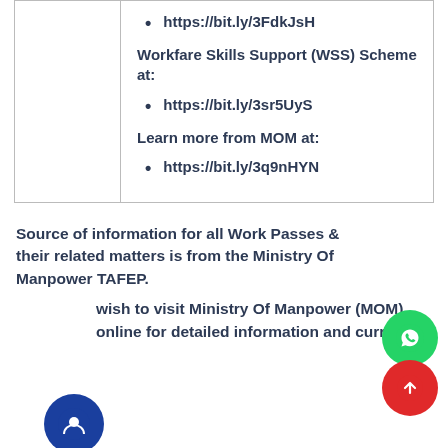https://bit.ly/3FdkJsH
Workfare Skills Support (WSS) Scheme at:
https://bit.ly/3sr5UyS
Learn more from MOM at:
https://bit.ly/3q9nHYN
Source of information for all Work Passes & their related matters is from the Ministry Of Manpower TAFEP.
wish to visit Ministry Of Manpower (MOM) online for detailed information and current